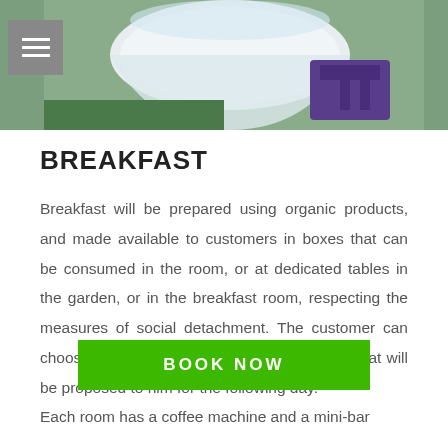[Figure (photo): Photo of a table with white tablecloth outdoors, with purple chairs/furniture visible in background, taken in a garden setting.]
BREAKFAST
Breakfast will be prepared using organic products, and made available to customers in boxes that can be consumed in the room, or at dedicated tables in the garden, or in the breakfast room, respecting the measures of social detachment. The customer can choose his breakfast from a personalised list that will be proposed to him for the following day.
Each room has a coffee machine and a mini-bar
BOOK NOW